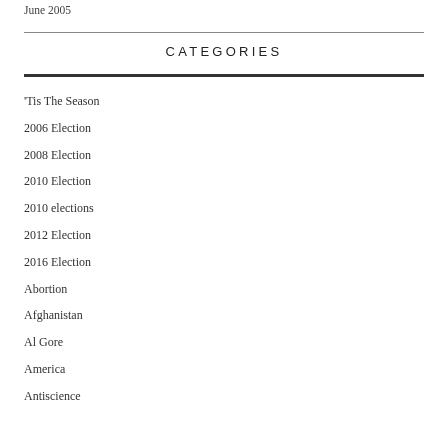June 2005
CATEGORIES
'Tis The Season
2006 Election
2008 Election
2010 Election
2010 elections
2012 Election
2016 Election
Abortion
Afghanistan
Al Gore
America
Antiscience